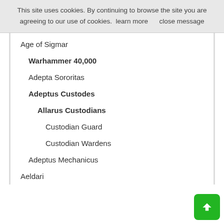This site uses cookies. By continuing to browse the site you are agreeing to our use of cookies.  learn more     close message
Age of Sigmar
Warhammer 40,000
Adepta Sororitas
Adeptus Custodes
Allarus Custodians
Custodian Guard
Custodian Wardens
Adeptus Mechanicus
Aeldari